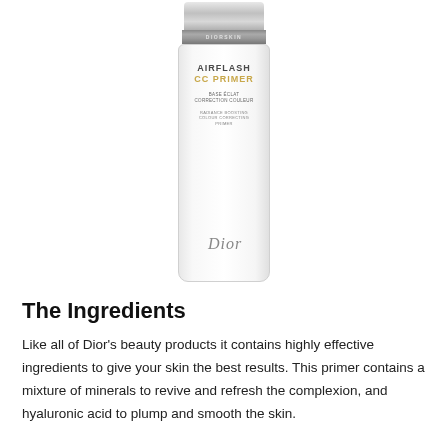[Figure (photo): A white cylindrical Dior Airflash CC Primer bottle with silver cap. The label reads: AIRFLASH CC PRIMER, BASE ÉCLAT CORRECTION COULEUR, RADIANCE BOOSTING COLOUR CORRECTING PRIMER, with Dior branding at the bottom.]
The Ingredients
Like all of Dior's beauty products it contains highly effective ingredients to give your skin the best results. This primer contains a mixture of minerals to revive and refresh the complexion, and hyaluronic acid to plump and smooth the skin.